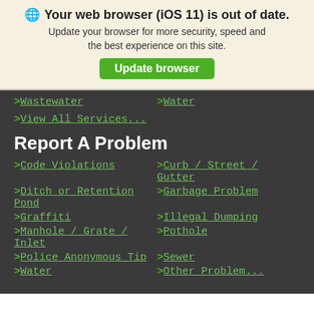🌐 Your web browser (iOS 11) is out of date. Update your browser for more security, speed and the best experience on this site.
Update browser
>Wastewater
>Water
>View All Services...
Report A Problem
>Code Violations
>Curb / Street / Gutter
>Ditch or Retention Pond
>Garbage Problem
>Graffiti
>Illegal Dumping
>Manhole / Grate / Inlet
>Pothole
>Police Anonymous Tip
>Sewer
>Water
>Other Problem...